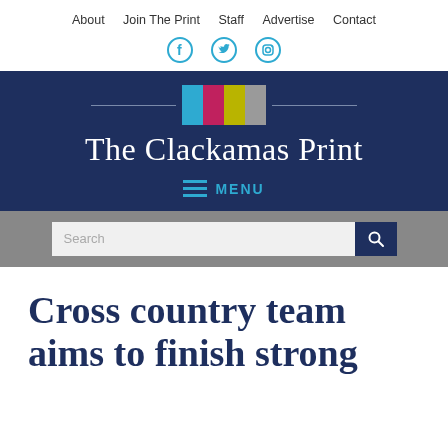About | Join The Print | Staff | Advertise | Contact
[Figure (logo): The Clackamas Print logo with colored bars (blue, magenta, yellow, gray) and horizontal lines on either side]
The Clackamas Print
MENU
[Figure (screenshot): Search bar with magnifying glass icon on gray background]
Cross country team aims to finish strong